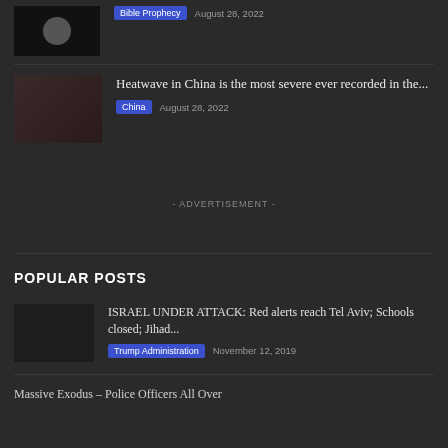[Figure (photo): Thumbnail image, dark, partially visible at top]
Bible Prophecy  August 28, 2022
[Figure (photo): Thumbnail of person, dark tones]
Heatwave in China is the most severe ever recorded in the...
China  August 28, 2022
- ADVERTISEMENT -
POPULAR POSTS
[Figure (photo): Thumbnail placeholder, dark]
ISRAEL UNDER ATTACK: Red alerts reach Tel Aviv; Schools closed; Jihad...
Trump Administration  November 12, 2019
Massive Exodus – Police Officers All Over